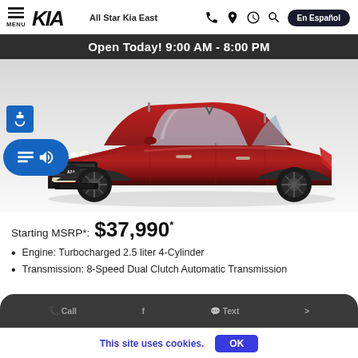MENU | KIA | All Star Kia East | En Español | nav icons
Open Today! 9:00 AM - 8:00 PM
[Figure (photo): Red Kia Sorento SUV on white/grey background, front three-quarter view, with accessibility and screen reader overlay buttons on the left side]
Starting MSRP*: $37,990*
Engine: Turbocharged 2.5 liter 4-Cylinder
Transmission: 8-Speed Dual Clutch Automatic Transmission
This site uses cookies.   OK